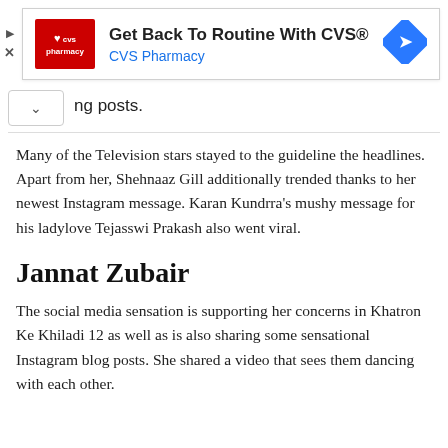[Figure (other): CVS Pharmacy advertisement banner with red CVS logo, ad title 'Get Back To Routine With CVS®', subtitle 'CVS Pharmacy', and a blue diamond navigation arrow icon on the right. Play and close controls on the left.]
ng posts.
Many of the Television stars stayed to the guideline the headlines. Apart from her, Shehnaaz Gill additionally trended thanks to her newest Instagram message. Karan Kundrra's mushy message for his ladylove Tejasswi Prakash also went viral.
Jannat Zubair
The social media sensation is supporting her concerns in Khatron Ke Khiladi 12 as well as is also sharing some sensational Instagram blog posts. She shared a video that sees them dancing with each other.